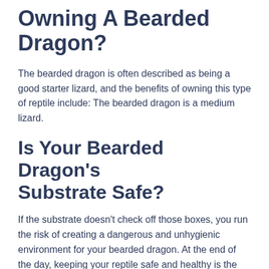Owning A Bearded Dragon?
The bearded dragon is often described as being a good starter lizard, and the benefits of owning this type of reptile include: The bearded dragon is a medium lizard.
Is Your Bearded Dragon's Substrate Safe?
If the substrate doesn't check off those boxes, you run the risk of creating a dangerous and unhygienic environment for your bearded dragon. At the end of the day, keeping your reptile safe and healthy is the top priority.